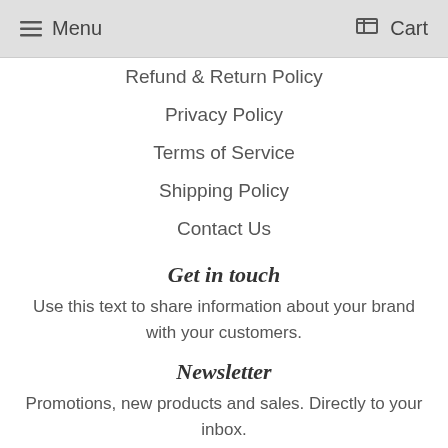Menu   Cart
Refund & Return Policy
Privacy Policy
Terms of Service
Shipping Policy
Contact Us
Get in touch
Use this text to share information about your brand with your customers.
Newsletter
Promotions, new products and sales. Directly to your inbox.
Email Address   SIGN UP